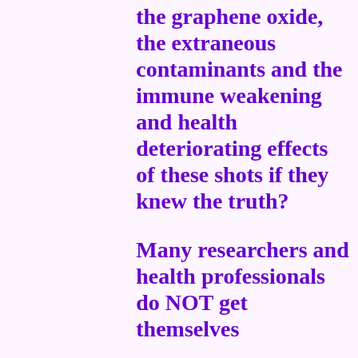the graphene oxide, the extraneous contaminants and the immune weakening and health deteriorating effects of these shots if they knew the truth?
Many researchers and health professionals do NOT get themselves